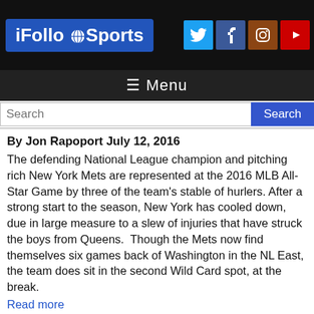iFolloSports — social icons: Twitter, Facebook, Instagram, YouTube
☰ Menu
Search | Search button
By Jon Rapoport July 12, 2016
The defending National League champion and pitching rich New York Mets are represented at the 2016 MLB All-Star Game by three of the team's stable of hurlers. After a strong start to the season, New York has cooled down, due in large measure to a slew of injuries that have struck the boys from Queens.  Though the Mets now find themselves six games back of Washington in the NL East, the team does sit in the second Wild Card spot, at the break.
Read more
0 Comments
By Jon Rapoport July 12, 2016
Above is iFolloSports.com original video of San Francisco Giants pitching sensation Madison Bumgarner leaving the Manchester